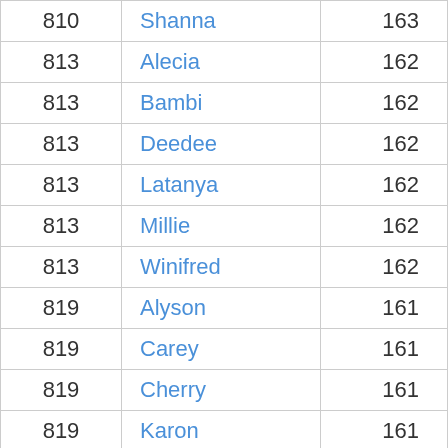| Rank | Name | Count |
| --- | --- | --- |
| 810 | Shanna | 163 |
| 813 | Alecia | 162 |
| 813 | Bambi | 162 |
| 813 | Deedee | 162 |
| 813 | Latanya | 162 |
| 813 | Millie | 162 |
| 813 | Winifred | 162 |
| 819 | Alyson | 161 |
| 819 | Carey | 161 |
| 819 | Cherry | 161 |
| 819 | Karon | 161 |